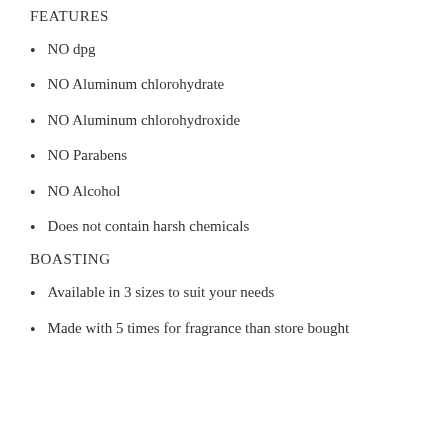FEATURES
NO dpg
NO Aluminum chlorohydrate
NO Aluminum chlorohydroxide
NO Parabens
NO Alcohol
Does not contain harsh chemicals
BOASTING
Available in 3 sizes to suit your needs
Made with 5 times for fragrance than store bought